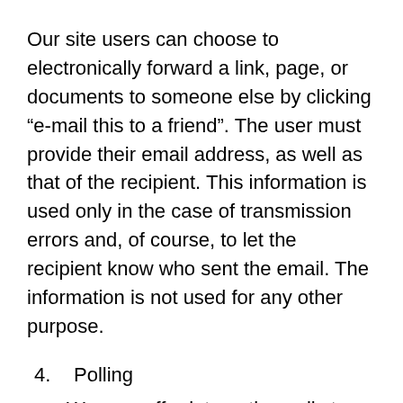Our site users can choose to electronically forward a link, page, or documents to someone else by clicking “e-mail this to a friend”. The user must provide their email address, as well as that of the recipient. This information is used only in the case of transmission errors and, of course, to let the recipient know who sent the email. The information is not used for any other purpose.
4. Polling
We may offer interactive polls to users so they can easily share their opinions with other users and see what our audience thinks about important issues. Opinions or other responses to polls are aggregated and are not identifiable to any particular user. She…